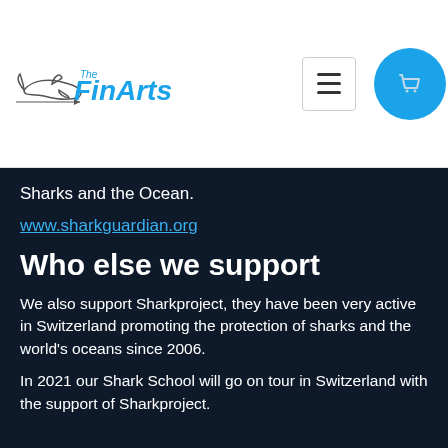[Figure (logo): The FinArts logo with shark silhouette and blue italic text]
Sharks and the Ocean.
www.sharkguardian.org
Who else we support
We also support Sharkproject, they have been very active in Switzerland promoting the protection of sharks and the world's oceans since 2006.
In 2021 our Shark School will go on tour in Switzerland with the support of Sharkproject.